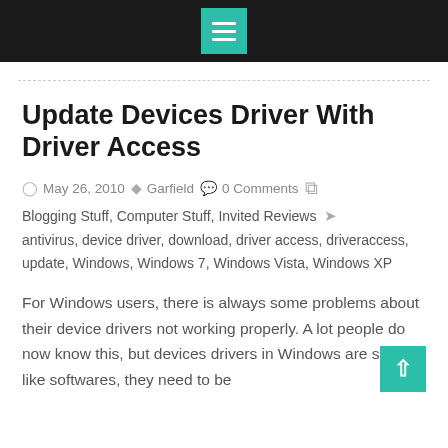Menu icon header bar
Update Devices Driver With Driver Access
May 26, 2010  Garfield  0 Comments  Blogging Stuff, Computer Stuff, Invited Reviews  antivirus, device driver, download, driver access, driveraccess, update, Windows, Windows 7, Windows Vista, Windows XP
For Windows users, there is always some problems about their device drivers not working properly. A lot people do now know this, but devices drivers in Windows are same like softwares, they need to be